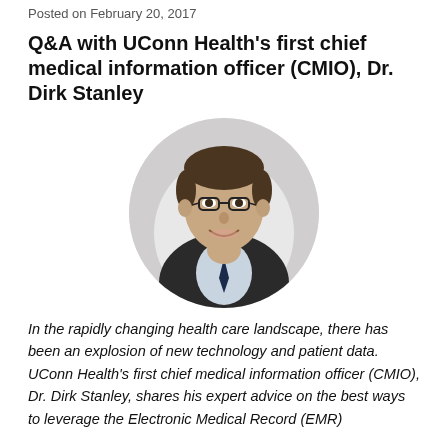Posted on February 20, 2017
Q&A with UConn Health's first chief medical information officer (CMIO), Dr. Dirk Stanley
[Figure (photo): Circular headshot photo of Dr. Dirk Stanley, a man wearing glasses and a dark suit with a tie, smiling, against a light grey background.]
In the rapidly changing health care landscape, there has been an explosion of new technology and patient data. UConn Health's first chief medical information officer (CMIO), Dr. Dirk Stanley, shares his expert advice on the best ways to leverage the Electronic Medical Record (EMR)